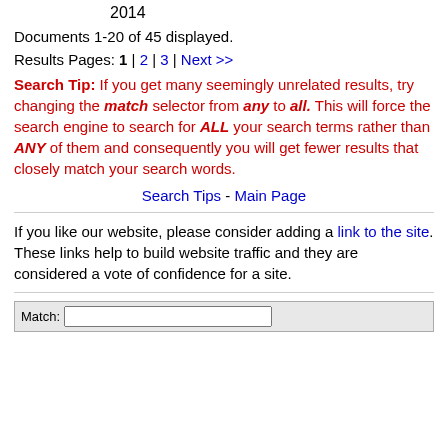2014
Documents 1-20 of 45 displayed.
Results Pages: 1 | 2 | 3 | Next >>
Search Tip: If you get many seemingly unrelated results, try changing the match selector from any to all. This will force the search engine to search for ALL your search terms rather than ANY of them and consequently you will get fewer results that closely match your search words.
Search Tips - Main Page
If you like our website, please consider adding a link to the site. These links help to build website traffic and they are considered a vote of confidence for a site.